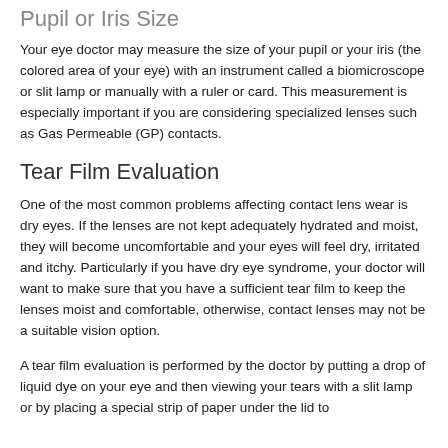Pupil or Iris Size
Your eye doctor may measure the size of your pupil or your iris (the colored area of your eye) with an instrument called a biomicroscope or slit lamp or manually with a ruler or card. This measurement is especially important if you are considering specialized lenses such as Gas Permeable (GP) contacts.
Tear Film Evaluation
One of the most common problems affecting contact lens wear is dry eyes. If the lenses are not kept adequately hydrated and moist, they will become uncomfortable and your eyes will feel dry, irritated and itchy. Particularly if you have dry eye syndrome, your doctor will want to make sure that you have a sufficient tear film to keep the lenses moist and comfortable, otherwise, contact lenses may not be a suitable vision option.
A tear film evaluation is performed by the doctor by putting a drop of liquid dye on your eye and then viewing your tears with a slit lamp or by placing a special strip of paper under the lid to